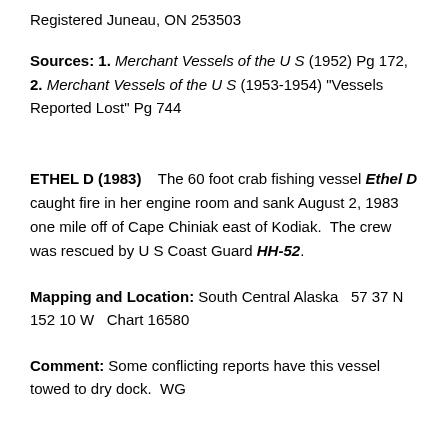Registered Juneau, ON 253503
Sources: 1. Merchant Vessels of the U S (1952) Pg 172, 2. Merchant Vessels of the U S (1953-1954) "Vessels Reported Lost" Pg 744
ETHEL D (1983)    The 60 foot crab fishing vessel Ethel D caught fire in her engine room and sank August 2, 1983 one mile off of Cape Chiniak east of Kodiak.  The crew was rescued by U S Coast Guard HH-52.
Mapping and Location: South Central Alaska   57 37 N  152 10 W   Chart 16580
Comment: Some conflicting reports have this vessel towed to dry dock.  WG